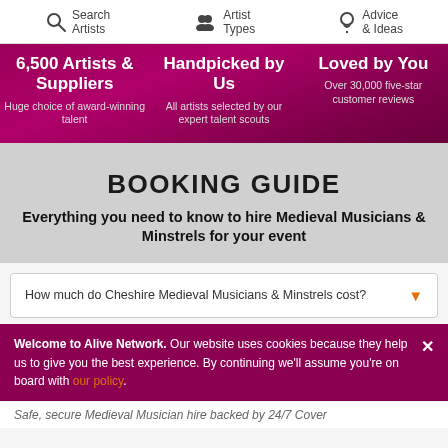Search Artists | Artist Types | Advice & Ideas
6,500 Artists & Suppliers – Huge choice of award-winning talent
Handpicked by Us – All artists selected by our expert talent scouts
Loved by You – Over 30,000 five-star customer reviews
BOOKING GUIDE
Everything you need to know to hire Medieval Musicians & Minstrels for your event
How much do Cheshire Medieval Musicians & Minstrels cost?
Welcome to Alive Network. Our website uses cookies because they help us to give you the best experience. By continuing we'll assume you're on board with our policy.
Safe, secure Medieval Musician hire backed by 24/7 Cover